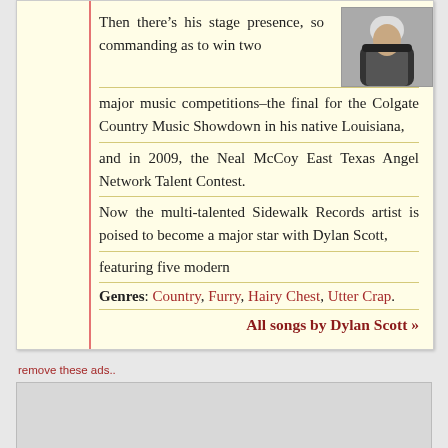Then there’s his stage presence, so commanding as to win two major music competitions–the final for the Colgate Country Music Showdown in his native Louisiana, and in 2009, the Neal McCoy East Texas Angel Network Talent Contest.
[Figure (photo): Photo of Dylan Scott wearing a black leather jacket]
Now the multi-talented Sidewalk Records artist is poised to become a major star with Dylan Scott, featuring five modern
Genres: Country, Furry, Hairy Chest, Utter Crap.
All songs by Dylan Scott »
remove these ads..